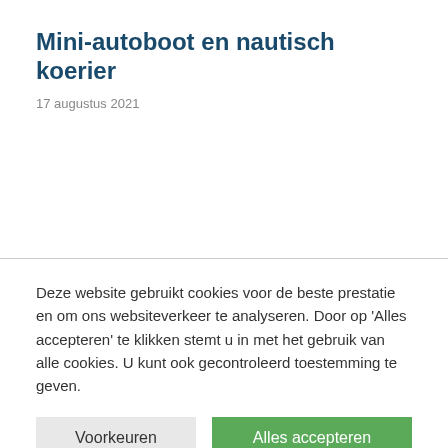Mini-autoboot en nautisch koerier
17 augustus 2021
Deze website gebruikt cookies voor de beste prestatie en om ons websiteverkeer te analyseren. Door op 'Alles accepteren' te klikken stemt u in met het gebruik van alle cookies. U kunt ook gecontroleerd toestemming te geven.
Voorkeuren | Alles accepteren